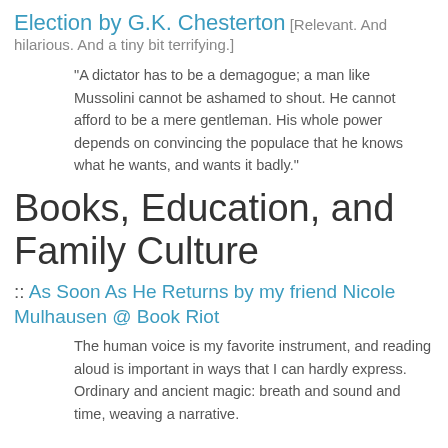Election by G.K. Chesterton [Relevant. And hilarious. And a tiny bit terrifying.]
"A dictator has to be a demagogue; a man like Mussolini cannot be ashamed to shout. He cannot afford to be a mere gentleman. His whole power depends on convincing the populace that he knows what he wants, and wants it badly."
Books, Education, and Family Culture
:: As Soon As He Returns by my friend Nicole Mulhausen @ Book Riot
The human voice is my favorite instrument, and reading aloud is important in ways that I can hardly express. Ordinary and ancient magic: breath and sound and time, weaving a narrative.